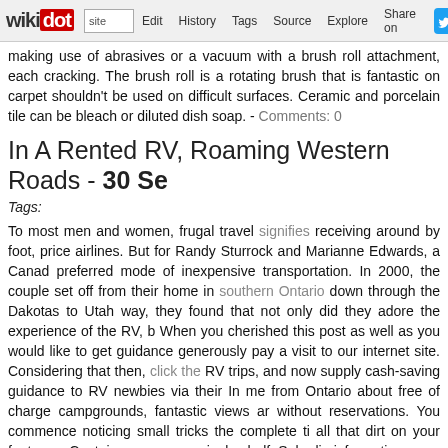wikidot | site | Edit | History | Tags | Source | Explore | Share on
making use of abrasives or a vacuum with a brush roll attachment, each cracking. The brush roll is a rotating brush that is fantastic on carpet shouldn't be used on difficult surfaces. Ceramic and porcelain tile can be bleach or diluted dish soap. - Comments: 0
In A Rented RV, Roaming Western Roads - 30 Se
Tags:
To most men and women, frugal travel signifies receiving around by foot, price airlines. But for Randy Sturrock and Marianne Edwards, a Canad preferred mode of inexpensive transportation. In 2000, the couple set off from their home in southern Ontario down through the Dakotas to Utah way, they found that not only did they adore the experience of the RV, b When you cherished this post as well as you would like to get guidance generously pay a visit to our internet site. Considering that then, click the RV trips, and now supply cash-saving guidance to RV newbies via their In me from Ontario about free of charge campgrounds, fantastic views ar without reservations. You commence noticing small tricks the complete ti all that dirt on your footwear. Containers on every single shelf. Solar lig information away due to the fact, someday, you want an RV of your per entertaining, reasonably priced way to get pleasure from spending time couple of weeks or even longer. Pack things in to bins and storage cont load and unload for your RV. It will also assist to keep items in spot ev plastic drawers will match in your RV's closet and supply you with a lot o of wind, a downgrade, a pass by a bigger car, and so on.) the trailer do the predicament to decide the proper course of action. Right here is a lis in a travel trailer can be a enjoyable, cost-effective way to appreciate